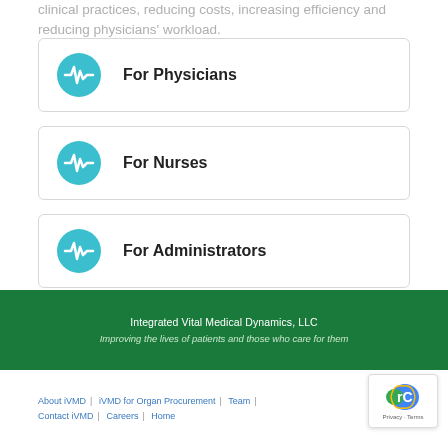clinical practices, reducing costs, increasing efficiency and reducing physicians' workload.
For Physicians
For Nurses
For Administrators
Integrated Vital Medical Dynamics, LLC
Improving the lives of patients and those who care for them
About iVMD | iVMD for Organ Procurement | Team | Contact iVMD | Careers | Home